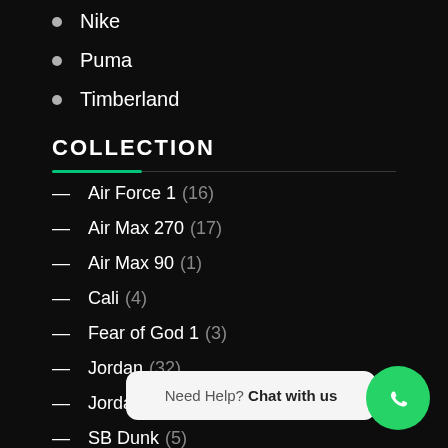Nike
Puma
Timberland
COLLECTION
Air Force 1 (16)
Air Max 270 (17)
Air Max 90 (1)
Cali (4)
Fear of God 1 (3)
Jordan (32)
Jordan 1 (23)
SB Dunk (5)
Need Help? Chat with us